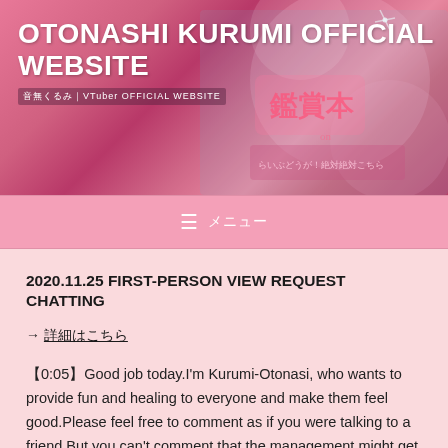OTONASHI KURUMI OFFICIAL WEBSITE
≡ メニュー
2020.11.25 FIRST-PERSON VIEW REQUEST CHATTING
→ 詳細はこちら
【0:05】Good job today.I'm Kurumi-Otonasi, who wants to provide fun and healing to everyone and make them feel good.Please feel free to comment as if you were talking to a friend.But you can't comment that the management might get angry. Let's make it a place where everyone can enjoy and heal together.